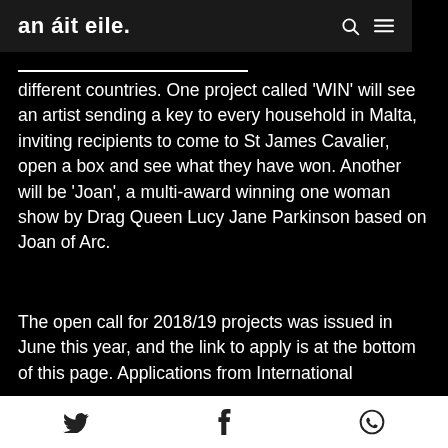an áit eile.
different countries. One project called 'WIN' will see an artist sending a key to every household in Malta, inviting recipients to come to St James Cavalier, open a box and see what they have won. Another will be 'Joan', a multi-award winning one woman show by Drag Queen Lucy Jane Parkinson based on Joan of Arc.
The open call for 2018/19 projects was issued in June this year, and the link to apply is at the bottom of this page. Applications from International
Twitter | Facebook | WhatsApp